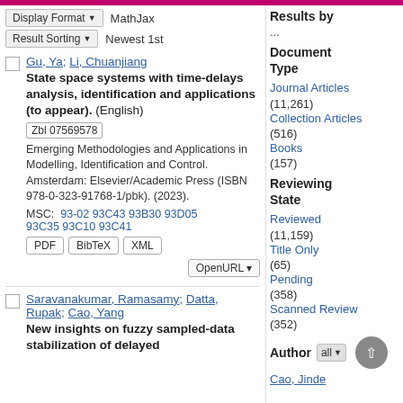Display Format ▼   MathJax
Result Sorting ▼   Newest 1st
Gu, Ya; Li, Chuanjiang
State space systems with time-delays analysis, identification and applications (to appear). (English)
Zbl 07569578
Emerging Methodologies and Applications in Modelling, Identification and Control. Amsterdam: Elsevier/Academic Press (ISBN 978-0-323-91768-1/pbk). (2023).
MSC:  93-02 93C43 93B30 93D05 93C35 93C10 93C41
PDF   BibTeX   XML   OpenURL
Saravanakumar, Ramasamy; Datta, Rupak; Cao, Yang
New insights on fuzzy sampled-data stabilization of delayed
Results by ...
Document Type
Journal Articles (11,261)
Collection Articles (516)
Books (157)
Reviewing State
Reviewed (11,159)
Title Only (65)
Pending (358)
Scanned Review (352)
Author all ▼
Cao, Jinde